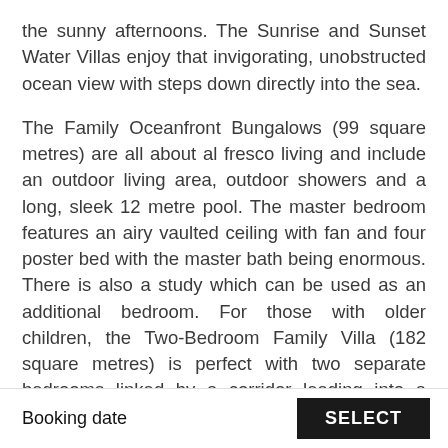the sunny afternoons. The Sunrise and Sunset Water Villas enjoy that invigorating, unobstructed ocean view with steps down directly into the sea.
The Family Oceanfront Bungalows (99 square metres) are all about al fresco living and include an outdoor living area, outdoor showers and a long, sleek 12 metre pool. The master bedroom features an airy vaulted ceiling with fan and four poster bed with the master bath being enormous. There is also a study which can be used as an additional bedroom. For those with older children, the Two-Bedroom Family Villa (182 square metres) is perfect with two separate bedrooms linked by a corridor leading into a huge al fresco family room
Booking date  SELECT